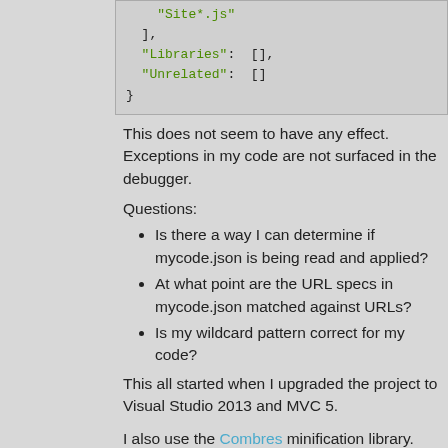[Figure (screenshot): Code snippet showing JSON with 'Site*.js', Libraries: [], Unrelated: []]
This does not seem to have any effect. Exceptions in my code are not surfaced in the debugger.
Questions:
Is there a way I can determine if mycode.json is being read and applied?
At what point are the URL specs in mycode.json matched against URLs?
Is my wildcard pattern correct for my code?
This all started when I upgraded the project to Visual Studio 2013 and MVC 5.
I also use the Combres minification library.
Thanks for any help.
Glenn